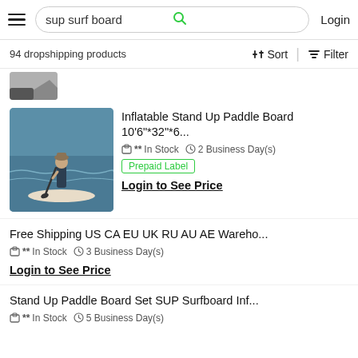sup surf board | Login
94 dropshipping products
Sort  Filter
[Figure (photo): Partial product image cut off at top, showing corner of a dark paddle board]
Inflatable Stand Up Paddle Board 10'6"*32"*6...
** In Stock   2 Business Day(s)
Prepaid Label
Login to See Price
Free Shipping US CA EU UK RU AU AE Wareho...
** In Stock   3 Business Day(s)
Login to See Price
Stand Up Paddle Board Set SUP Surfboard Inf...
** In Stock   5 Business Day(s)